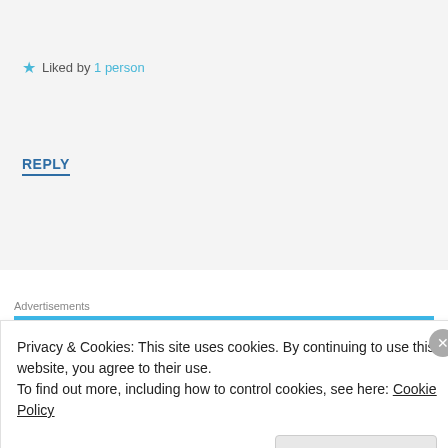Liked by 1 person
REPLY
Advertisements
[Figure (other): DAY ONE advertisement banner in blue]
kimmie.gg says:
Privacy & Cookies: This site uses cookies. By continuing to use this website, you agree to their use.
To find out more, including how to control cookies, see here: Cookie Policy
Close and accept